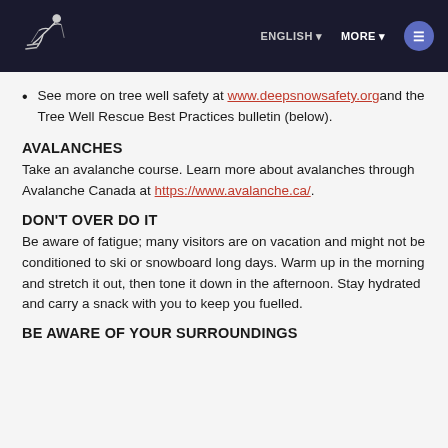ENGLISH | MORE | [nav button]
See more on tree well safety at www.deepsnowsafety.org and the Tree Well Rescue Best Practices bulletin (below).
AVALANCHES
Take an avalanche course. Learn more about avalanches through Avalanche Canada at https://www.avalanche.ca/.
DON'T OVER DO IT
Be aware of fatigue; many visitors are on vacation and might not be conditioned to ski or snowboard long days. Warm up in the morning and stretch it out, then tone it down in the afternoon. Stay hydrated and carry a snack with you to keep you fuelled.
BE AWARE OF YOUR SURROUNDINGS